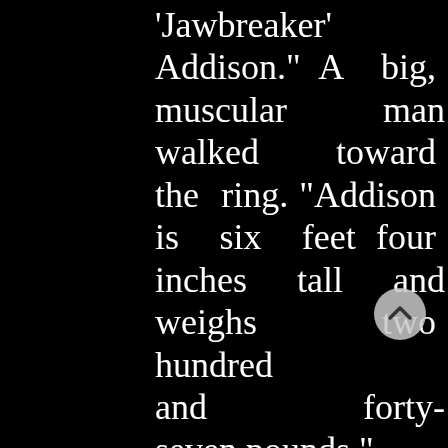'Jawbreaker' Addison." A big, muscular man walked toward the ring. "Addison is six feet four inches tall and weighs two hundred and forty-seven pounds."

The burly, dark haired man climbed between the ropes and stood in a corner, glowering at the